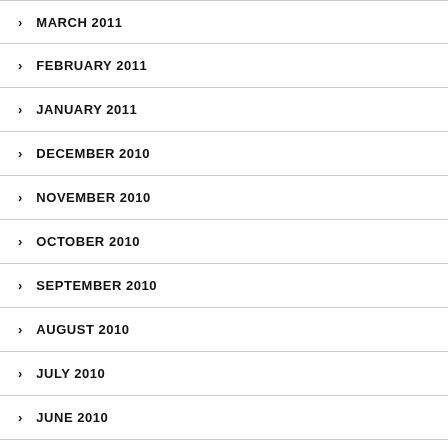MARCH 2011
FEBRUARY 2011
JANUARY 2011
DECEMBER 2010
NOVEMBER 2010
OCTOBER 2010
SEPTEMBER 2010
AUGUST 2010
JULY 2010
JUNE 2010